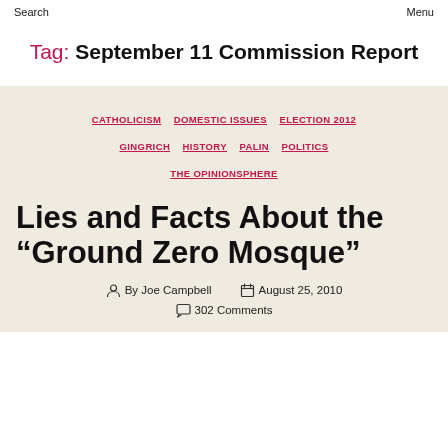Search   Menu
Tag: September 11 Commission Report
CATHOLICISM  DOMESTIC ISSUES  ELECTION 2012  GINGRICH  HISTORY  PALIN  POLITICS  THE OPINIONSPHERE
Lies and Facts About the “Ground Zero Mosque”
By Joe Campbell   August 25, 2010
302 Comments